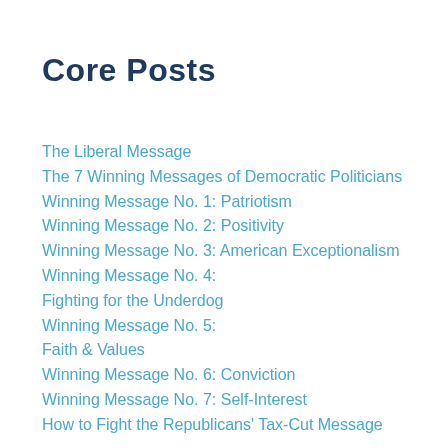Core Posts
The Liberal Message
The 7 Winning Messages of Democratic Politicians
Winning Message No. 1: Patriotism
Winning Message No. 2: Positivity
Winning Message No. 3: American Exceptionalism
Winning Message No. 4:
Fighting for the Underdog
Winning Message No. 5:
Faith & Values
Winning Message No. 6: Conviction
Winning Message No. 7: Self-Interest
How to Fight the Republicans' Tax-Cut Message